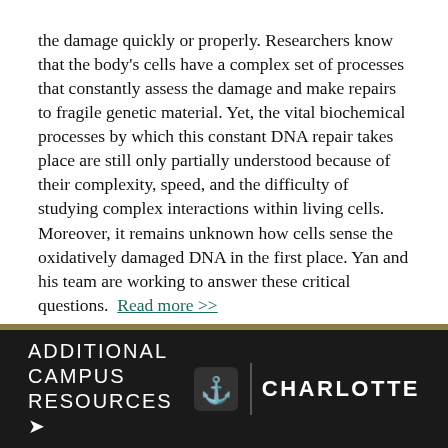the damage quickly or properly. Researchers know that the body's cells have a complex set of processes that constantly assess the damage and make repairs to fragile genetic material. Yet, the vital biochemical processes by which this constant DNA repair takes place are still only partially understood because of their complexity, speed, and the difficulty of studying complex interactions within living cells. Moreover, it remains unknown how cells sense the oxidatively damaged DNA in the first place. Yan and his team are working to answer these critical questions. Read more >>
ADDITIONAL CAMPUS RESOURCES > CHARLOTTE